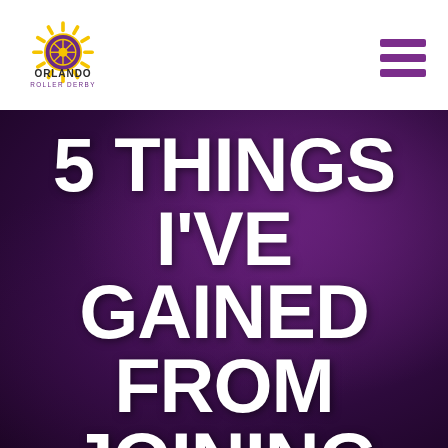[Figure (logo): Orlando Roller Derby logo: a roller skate wheel with sunburst rays, text 'ORLANDO ROLLER DERBY' below]
[Figure (other): Hamburger menu icon with three purple horizontal bars]
5 THINGS I'VE GAINED FROM JOINING